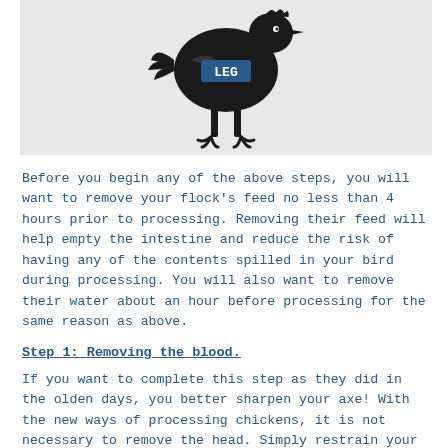[Figure (illustration): Illustration of a chicken/bird with 'LEG' label on its body, shown in black silhouette style against a light gray background.]
Before you begin any of the above steps, you will want to remove your flock's feed no less than 4 hours prior to processing. Removing their feed will help empty the intestine and reduce the risk of having any of the contents spilled in your bird during processing. You will also want to remove their water about an hour before processing for the same reason as above.
Step 1: Removing the blood.
If you want to complete this step as they did in the olden days, you better sharpen your axe! With the new ways of processing chickens, it is not necessary to remove the head. Simply restrain your chicken so it can't flop around and nick the carotid artery by cutting the neck just behind their ear. After the artery is cut, hang the bird upside down so its heart will do the work and pump the